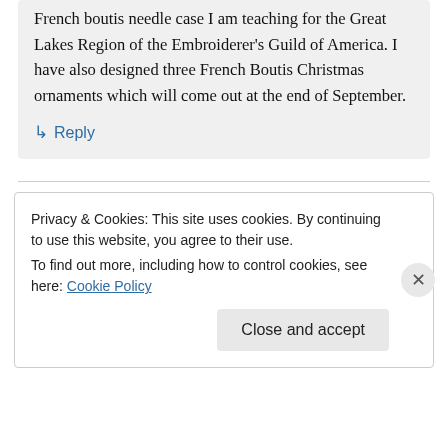French boutis needle case I am teaching for the Great Lakes Region of the Embroiderer's Guild of America. I have also designed three French Boutis Christmas ornaments which will come out at the end of September.
↳ Reply
Privacy & Cookies: This site uses cookies. By continuing to use this website, you agree to their use.
To find out more, including how to control cookies, see here: Cookie Policy
Close and accept